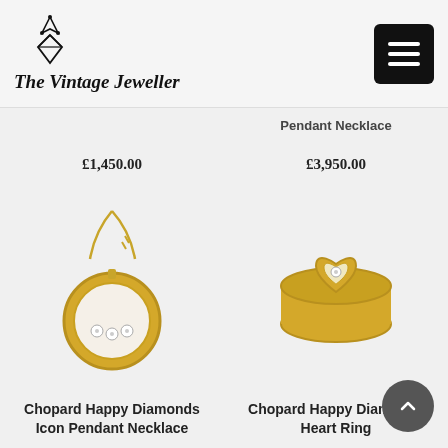[Figure (logo): The Vintage Jeweller logo with crown and diamond icon above stylized serif text]
Pendant Necklace
£1,450.00
£3,950.00
[Figure (photo): Chopard Happy Diamonds Icon Pendant Necklace — gold pendant with circular disc containing floating diamonds on a gold chain]
[Figure (photo): Chopard Happy Diamonds Heart Ring — gold ring with heart-shaped top containing a floating diamond]
Chopard Happy Diamonds Icon Pendant Necklace
Chopard Happy Diamonds Heart Ring
£1,150.00
£850.00